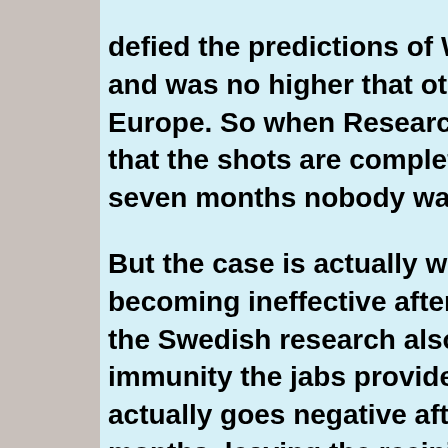defied the predictions of WHO doom mongers and was no higher that other nations in northern Europe. So when Researchers there determined that the shots are completely useless after seven months nobody was surprised.

But the case is actually worse than the jabs becoming ineffective after only a few months, the Swedish research also shows the temporary immunity the jabs provide for a few weeks actually goes negative after about seven months, leaving the recipientâ€™s immune system weakened and more susceptible to viruses. Thus the vaxxed are worse off than before they got the clotshot.

The Swedish research replicates the conclusions of a British study published